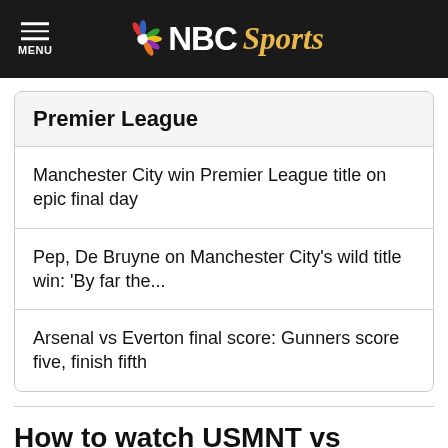NBC Sports
Premier League
Manchester City win Premier League title on epic final day
Pep, De Bruyne on Manchester City's wild title win: 'By far the...
Arsenal vs Everton final score: Gunners score five, finish fifth
How to watch USMNT vs Uruguay